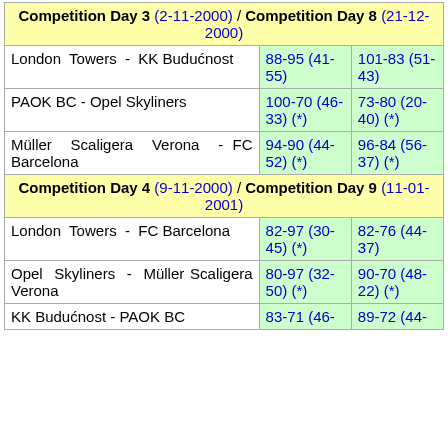Competition Day 3 (2-11-2000) / Competition Day 8 (21-12-2000)
| Match | Score 1 | Score 2 |
| --- | --- | --- |
| London Towers - KK Budućnost | 88-95 (41-55) | 101-83 (51-43) |
| PAOK BC - Opel Skyliners | 100-70 (46-33) (*) | 73-80 (20-40) (*) |
| Müller Scaligera Verona - FC Barcelona | 94-90 (44-52) (*) | 96-84 (56-37) (*) |
Competition Day 4 (9-11-2000) / Competition Day 9 (11-01-2001)
| Match | Score 1 | Score 2 |
| --- | --- | --- |
| London Towers - FC Barcelona | 82-97 (30-45) (*) | 82-76 (44-37) |
| Opel Skyliners - Müller Scaligera Verona | 80-97 (32-50) (*) | 90-70 (48-22) (*) |
| KK Budućnost - PAOK BC | 83-71 (46- | 89-72 (44- |